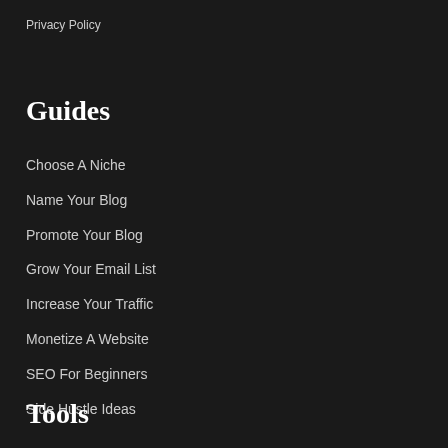Privacy Policy
Guides
Choose A Niche
Name Your Blog
Promote Your Blog
Grow Your Email List
Increase Your Traffic
Monetize A Website
SEO For Beginners
Side Hustle Ideas
Tools